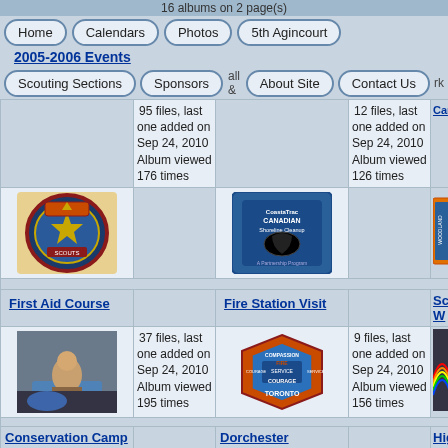16 albums on 2 page(s)
Home | Calendars | Photos | 5th Agincourt
2005-2006 Events
Scouting Sections | Sponsors | About Site | Contact Us
95 files, last one added on Sep 24, 2010 Album viewed 176 times
12 files, last one added on Sep 24, 2010 Album viewed 126 times
First Aid Course
Fire Station Visit
Scout W
37 files, last one added on Sep 24, 2010 Album viewed 195 times
9 files, last one added on Sep 24, 2010 Album viewed 156 times
Conservation Camp
Dorchester International
Highpoi